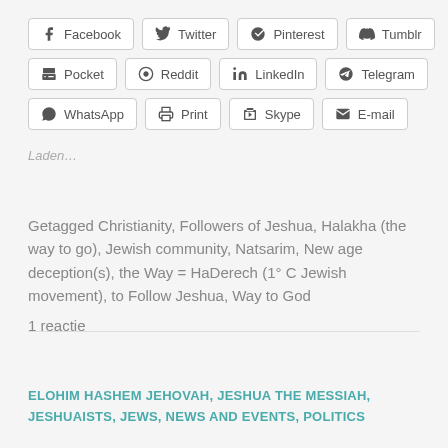[Figure (other): Social share buttons: Facebook, Twitter, Pinterest, Tumblr, Pocket, Reddit, LinkedIn, Telegram, WhatsApp, Print, Skype, E-mail]
Laden...
Getagged Christianity, Followers of Jeshua, Halakha (the way to go), Jewish community, Natsarim, New age deception(s), the Way = HaDerech (1° C Jewish movement), to Follow Jeshua, Way to God
1 reactie
ELOHIM HASHEM JEHOVAH, JESHUA THE MESSIAH, JESHUAISTS, JEWS, NEWS AND EVENTS, POLITICS